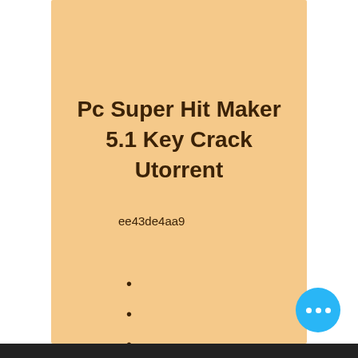Pc Super Hit Maker 5.1 Key Crack Utorrent
ee43de4aa9